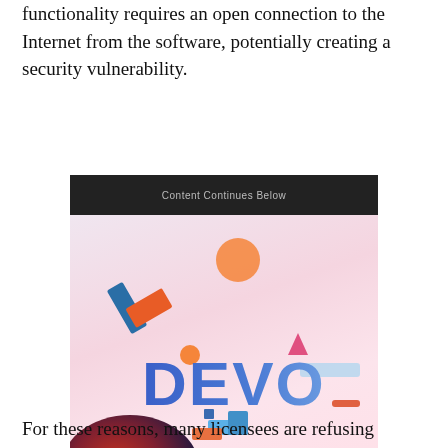functionality requires an open connection to the Internet from the software, potentially creating a security vulnerability.
[Figure (illustration): Advertisement image with dark header bar reading 'Content Continues Below', followed by a colorful graphic showing the word 'DEVO' in bold blue gradient letters surrounded by geometric shapes (orange circle, pink triangle, orange and teal rectangles, blue shapes) on a pink/lavender background, with a dark footer bar.]
For these reasons, many licensees are refusing